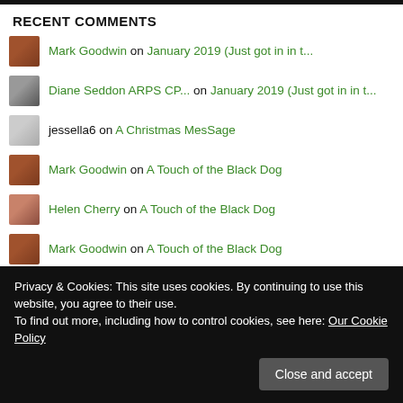RECENT COMMENTS
Mark Goodwin on January 2019 (Just got in in t...
Diane Seddon ARPS CP... on January 2019 (Just got in in t...
jessella6 on A Christmas MesSage
Mark Goodwin on A Touch of the Black Dog
Helen Cherry on A Touch of the Black Dog
Mark Goodwin on A Touch of the Black Dog
Paul Drake on A Touch of the Black Dog
Mark Goodwin on Happy New Year
Ruth on Happy New Year
Privacy & Cookies: This site uses cookies. By continuing to use this website, you agree to their use. To find out more, including how to control cookies, see here: Our Cookie Policy